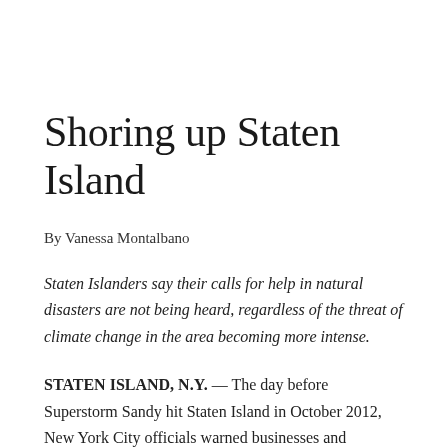Shoring up Staten Island
By Vanessa Montalbano
Staten Islanders say their calls for help in natural disasters are not being heard, regardless of the threat of climate change in the area becoming more intense.
STATEN ISLAND, N.Y. — The day before Superstorm Sandy hit Staten Island in October 2012, New York City officials warned businesses and homeowners in the most vulnerable areas of the danger they would soon face from the hurricane. That same night, Haley Essig and her family